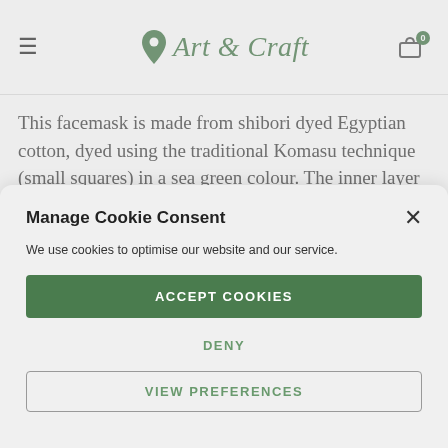Art & Craft
This facemask is made from shibori dyed Egyptian cotton, dyed using the traditional Komasu technique (small squares) in a sea green colour. The inner layer of fabric is plain white Egyptian cotton. The ties are made from upcycled polyester
Manage Cookie Consent
We use cookies to optimise our website and our service.
ACCEPT COOKIES
DENY
VIEW PREFERENCES